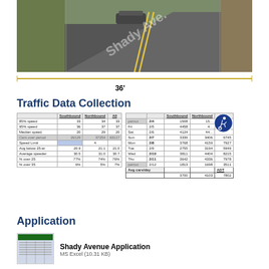[Figure (photo): Street-level view of Shady Ave, a two-lane road with double yellow center lines, trees and sidewalks on either side.]
[Figure (engineering-diagram): Horizontal measurement line spanning road width labeled 36 feet.]
36'
Traffic Data Collection
|  | Southbound | Northbound | All |
| --- | --- | --- | --- |
| 85% speed | 33 | 34 | 33 |
| 95% speed | 36 | 37 | 37 |
| Median speed | 20 | 29 | 20 |
| Cars over period | 26129 | 37254 | 63117 |
| Speed Limit |  | 4 |  |
| Avg below 25-er | 20.9 | 21.1 | 21.0 |
| Average speeder | 30.5 | 31.0 | 30.7 |
| % over 25 | 77% | 74% | 76% |
| % over 35 | 6% | 5% | 7% |
|  |  | Southbound | Northbound | All |
| --- | --- | --- | --- | --- |
| pernor | 2/4 | 1508 | 15... |  |
| Fri | 2/5 | 4458 | 4... |  |
| Sat | 2/6 | 4124 | 44... |  |
| Sun | 2/7 | 3339 | 3406 | 6745 |
| Mon | 2/8 | 3768 | 4159 | 7927 |
| Tue | 2/9 | 2755 | 3194 | 5949 |
| Wed | 2/10 | 3811 | 4404 | 8215 |
| Thu | 2/11 | 3642 | 4336 | 7978 |
| pernor | 2/12 | 1813 | 1698 | 3511 |
| Avg cars/day |  |  |  | ADT |
|  |  | 3700 | 4103 | 7802 |
Application
Shady Avenue Application
MS Excel (10.31 KB)